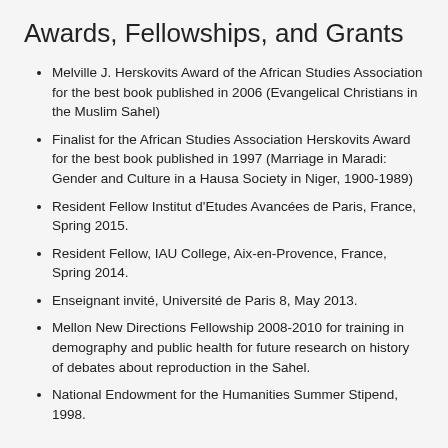Awards, Fellowships, and Grants
Melville J. Herskovits Award of the African Studies Association for the best book published in 2006 (Evangelical Christians in the Muslim Sahel)
Finalist for the African Studies Association Herskovits Award for the best book published in 1997 (Marriage in Maradi: Gender and Culture in a Hausa Society in Niger, 1900-1989)
Resident Fellow Institut d'Etudes Avancées de Paris, France, Spring 2015.
Resident Fellow, IAU College, Aix-en-Provence, France, Spring 2014.
Enseignant invité, Université de Paris 8, May 2013.
Mellon New Directions Fellowship 2008-2010 for training in demography and public health for future research on history of debates about reproduction in the Sahel.
National Endowment for the Humanities Summer Stipend, 1998.